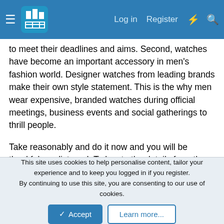Log in  Register
to meet their deadlines and aims. Second, watches have become an important accessory in men's fashion world. Designer watches from leading brands make their own style statement. This is the why men wear expensive, branded watches during official meetings, business events and social gatherings to thrill people.
Take reasonably and do it now and you will be thankful you listened. To locate the details from the technical side it would be better for could go ahead and take advice belonging to the technical answer.
Well, today's post are something about Louis Vuitton handbags, while useful for watch antique lovers. I surfed to a recent advertisement for one partnering of Bliss Spa with Nova.
This site uses cookies to help personalise content, tailor your experience and to keep you logged in if you register.
By continuing to use this site, you are consenting to our use of cookies.